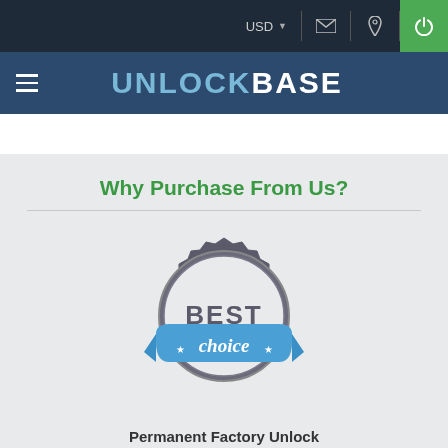USD
UNLOCKBASE
Why Purchase From Us?
[Figure (illustration): Best Choice badge/seal with blue ribbon, grey circular badge design with text BEST choice and star decorations]
Permanent Factory Unlock
Full Permanent Unlock (All Levels)
100% Money back guarantee
24/7 Customer support team